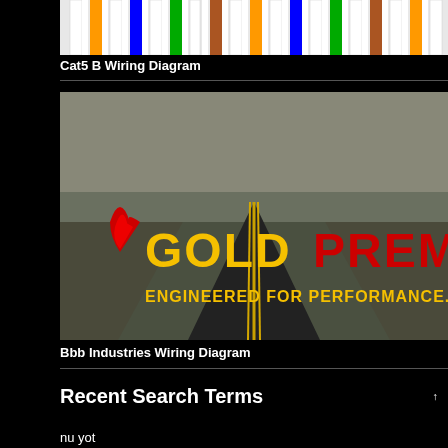[Figure (engineering-diagram): Cat5 B wiring diagram showing colored wire pairs in a structured pattern with white, orange, blue, green, and brown cable colors]
Cat5 B Wiring Diagram
[Figure (photo): GoldPrem brand advertisement image showing a road stretching into the distance with logo text reading GOLDPREM and tagline ENGINEERED FOR PERFORMANCE. FORG...]
Bbb Industries Wiring Diagram
Recent Search Terms
nu yot